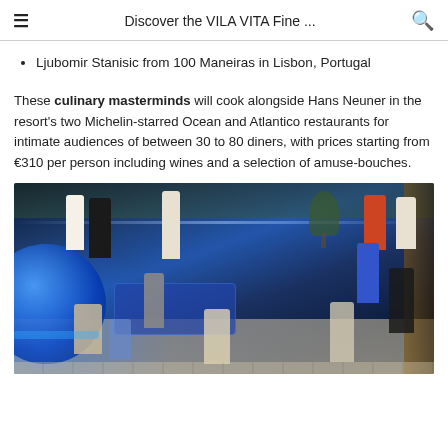Discover the VILA VITA Fine ...
Ljubomir Stanisic from 100 Maneiras in Lisbon, Portugal
These culinary masterminds will cook alongside Hans Neuner in the resort's two Michelin-starred Ocean and Atlantico restaurants for intimate audiences of between 30 to 80 diners, with prices starting from €310 per person including wines and a selection of amuse-bouches.
[Figure (photo): Overhead view of an elegant hotel or restaurant event space with blue ambient lighting, people mingling and dining, a curved blue-lit structure on the left, a central serving table, and large windows on the right.]